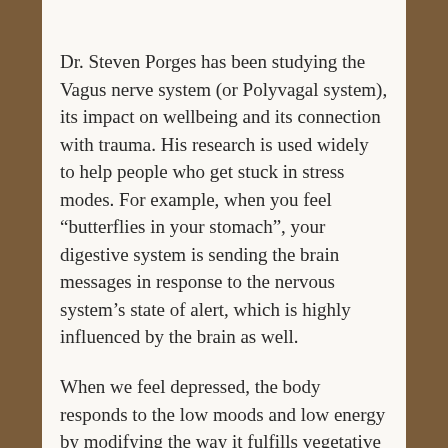Dr. Steven Porges has been studying the Vagus nerve system (or Polyvagal system), its impact on wellbeing and its connection with trauma. His research is used widely to help people who get stuck in stress modes. For example, when you feel “butterflies in your stomach”, your digestive system is sending the brain messages in response to the nervous system’s state of alert, which is highly influenced by the brain as well.
When we feel depressed, the body responds to the low moods and low energy by modifying the way it fulfills vegetative needs (eating and sleeping). Some individuals with depression change the food they want to eat, for example, and start consuming more carbs. Others feel less appetite. Others sleep less, or more. Mood states...